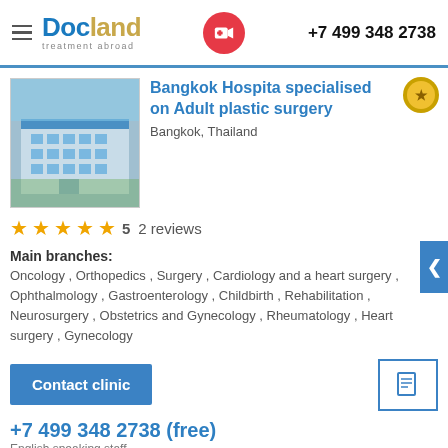Docland treatment abroad | +7 499 348 2738
[Figure (photo): Bangkok Hospital building exterior photo]
Bangkok Hospita specialised on Adult plastic surgery
Bangkok, Thailand
★★★★★ 5  2 reviews
Main branches: Oncology , Orthopedics , Surgery , Cardiology and a heart surgery , Ophthalmology , Gastroenterology , Childbirth , Rehabilitation , Neurosurgery , Obstetrics and Gynecology , Rheumatology , Heart surgery , Gynecology
Contact clinic
+7 499 348 2738 (free)
English speaking staff
By continuing to use this site, you agree to our Terms of Use cookie-files.
Accept